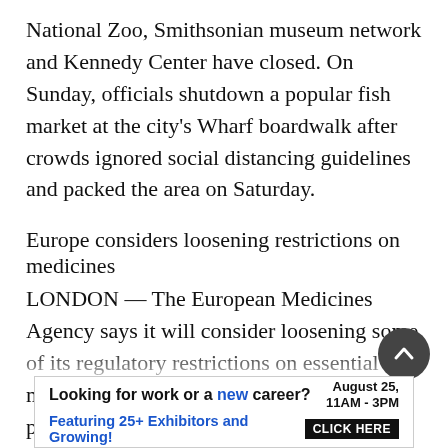National Zoo, Smithsonian museum network and Kennedy Center have closed. On Sunday, officials shutdown a popular fish market at the city's Wharf boardwalk after crowds ignored social distancing guidelines and packed the area on Saturday.
Europe considers loosening restrictions on medicines
LONDON — The European Medicines Agency says it will consider loosening some of its regulatory restrictions on essential medicines needed to treat COVID-19 patients to avoid future shortages.
The European regulator said in a Monday statement that some countries have reported shortages of drugs used for ICU patients hospitalized with the...
[Figure (other): Advertisement banner: Looking for work or a new career? August 25, 11AM-3PM. Featuring 25+ Exhibitors and Growing! CLICK HERE]